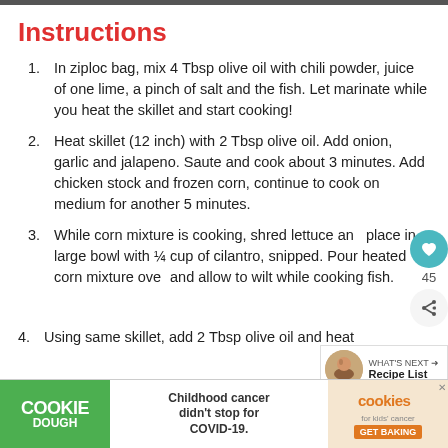Instructions
In ziploc bag, mix 4 Tbsp olive oil with chili powder, juice of one lime, a pinch of salt and the fish. Let marinate while you heat the skillet and start cooking!
Heat skillet (12 inch) with 2 Tbsp olive oil. Add onion, garlic and jalapeno. Saute and cook about 3 minutes. Add chicken stock and frozen corn, continue to cook on medium for another 5 minutes.
While corn mixture is cooking, shred lettuce and place in large bowl with ¼ cup of cilantro, snipped. Pour heated corn mixture over and allow to wilt while cooking fish.
Using same skillet, add 2 Tbsp olive oil and heat
[Figure (other): Advertisement banner: Cookie Dough / Childhood cancer didn't stop for COVID-19 / cookies for kids cancer / GET BAKING]